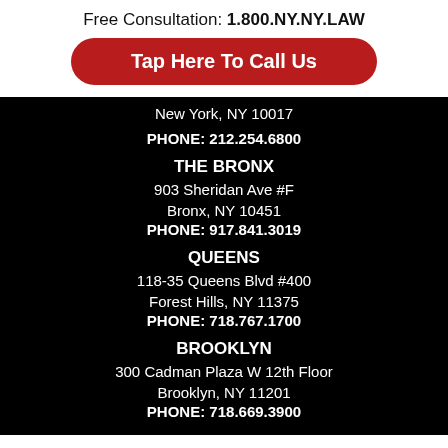Free Consultation: 1.800.NY.NY.LAW
Tap Here To Call Us
New York, NY 10017
PHONE: 212.254.6800
THE BRONX
903 Sheridan Ave #F
Bronx, NY 10451
PHONE: 917.841.3019
QUEENS
118-35 Queens Blvd #400
Forest Hills, NY 11375
PHONE: 718.767.1700
BROOKLYN
300 Cadman Plaza W 12th Floor
Brooklyn, NY 11201
PHONE: 718.669.3900